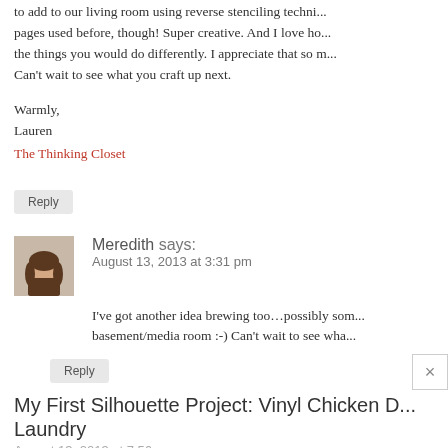to add to our living room using reverse stenciling techni... pages used before, though! Super creative. And I love ho... the things you would do differently. I appreciate that so m... Can't wait to see what you craft up next.
Warmly,
Lauren
The Thinking Closet
Reply
Meredith says:
August 13, 2013 at 3:31 pm
I've got another idea brewing too…possibly som... basement/media room :-) Can't wait to see wha...
Reply
My First Silhouette Project: Vinyl Chicken D... Laundry
August 13, 2013 at 7:56 am
[…] Hymn Art by Unoriginal Mom […]